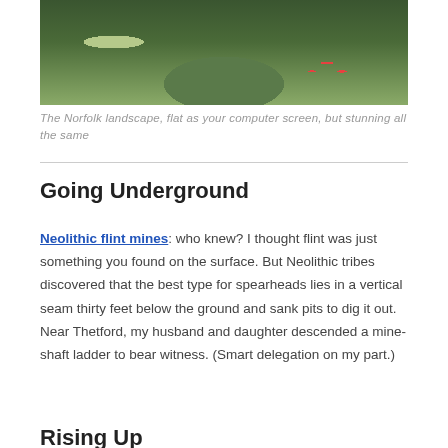[Figure (photo): Photograph of the Norfolk landscape showing green grassy vegetation with red poppy flowers visible in the right portion of the image.]
The Norfolk landscape, flat as your computer screen, but stunning all the same
Going Underground
Neolithic flint mines: who knew? I thought flint was just something you found on the surface. But Neolithic tribes discovered that the best type for spearheads lies in a vertical seam thirty feet below the ground and sank pits to dig it out. Near Thetford, my husband and daughter descended a mine-shaft ladder to bear witness. (Smart delegation on my part.)
Rising Up